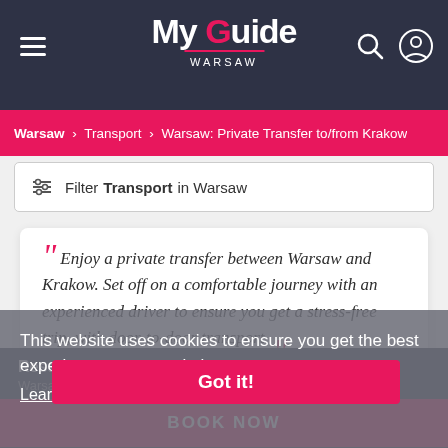My Guide WARSAW
Warsaw > Transport > Warsaw: Private Transfer to/from Krakow
Filter Transport in Warsaw
“ Enjoy a private transfer between Warsaw and Krakow. Set off on a comfortable journey with an experienced driver to ensure you get a stress-free trip, with door-to-door transport. ”
This website uses cookies to ensure you get the best experience on our website. Learn more
Got it!
Reserve Your Transport
Warsaw: Private Transfer to/from Krakow
BOOK NOW